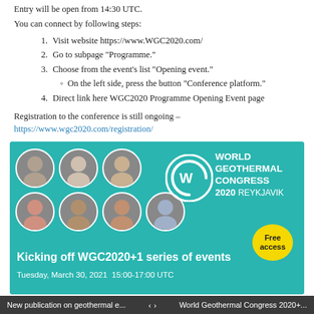Entry will be open from 14:30 UTC.
You can connect by following steps:
1. Visit website https://www.WGC2020.com/
2. Go to subpage "Programme."
3. Choose from the event's list "Opening event."
On the left side, press the button "Conference platform."
4. Direct link here WGC2020 Programme Opening Event page
Registration to the conference is still ongoing – https://www.wgc2020.com/registration/
[Figure (infographic): World Geothermal Congress 2020 Reykjavik banner showing speaker headshots, WGC logo, event title 'Kicking off WGC2020+1 series of events', date 'Tuesday, March 30, 2021 15:00-17:00 UTC', and 'Free access' badge. Main Partners logos: OR, HS ORKA, Landsvirkjun, ORMAT, Baker Hughes, IGA, Iceland Renewable Energy Cluster.]
New publication on geothermal e... < > World Geothermal Congress 2020+...